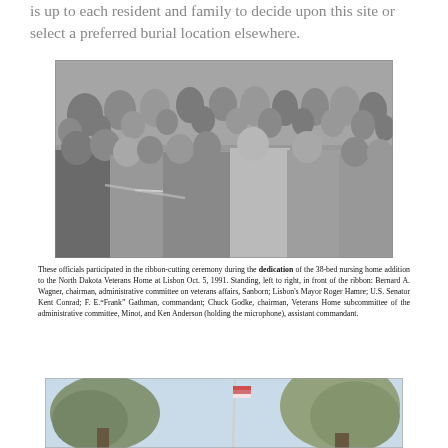is up to each resident and family to decide upon this site or select a preferred burial location elsewhere.
[Figure (photo): Black and white photograph of officials participating in a ribbon-cutting ceremony at the North Dakota Veterans Home at Lisbon, October 5, 1991. A large crowd of people is gathered outdoors. Several officials stand in front of a ribbon in the foreground.]
These officials participated in the ribbon-cutting ceremony during the dedication of the 38-bed nursing home addition to the North Dakota Veterans Home at Lisbon Oct. 5, 1991. Standing, left to right, in front of the ribbon: Bernard A. Wagner, chairman, administrative committee on veterans affairs, Sanborn; Lisbon's Mayor Roger Hamre; U.S. Senator Kent Conrad; F. E. "Frank" Gathman, commandant; Chuck Godke, chairman, Veterans Home subcommittee of the administrative committee, Minot, and Ken Anderson (holding the microphone), assistant commandant.
[Figure (photo): Partial photograph showing trees against a blue sky, with what appears to be a flagpole visible among the trees.]